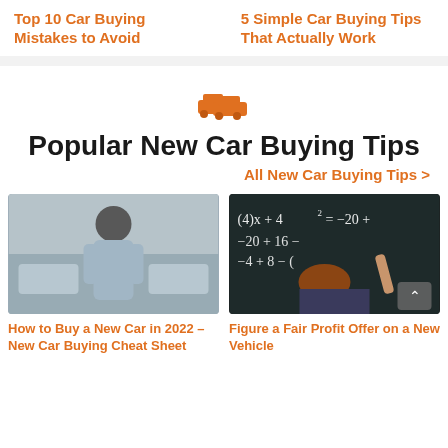Top 10 Car Buying Mistakes to Avoid
5 Simple Car Buying Tips That Actually Work
Popular New Car Buying Tips
All New Car Buying Tips >
[Figure (photo): Person from behind looking at cars in a dealership showroom]
How to Buy a New Car in 2022 – New Car Buying Cheat Sheet
[Figure (photo): Person writing math equations on a chalkboard: (4)x + 4^2 = -20, -20 + 16, -4 + 8 - (]
Figure a Fair Profit Offer on a New Vehicle